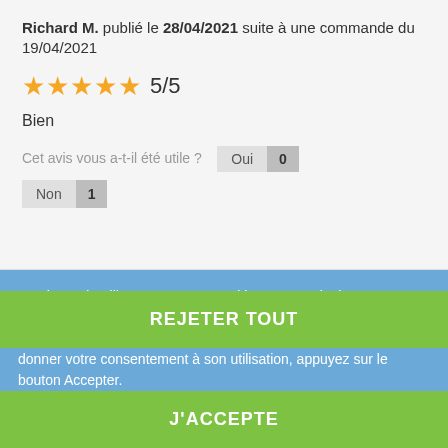Richard M. publié le 28/04/2021 suite à une commande du 19/04/2021
[Figure (other): 5 gold stars rating icon with text 5/5]
Bien
Cet avis vous a-t-il été utile ? Oui 0 Non 1
Ce site Web utilise ses propres cookies et ceux de tiers pour améliorer nos services et vous montrer des publicités liées à vos préférences en analysant vos habitudes de navigation. Pour donner votre consentement à son utilisation, appuyez sur le bouton Accepter.
Plus d'informations   Personnaliser les cookies
REJETER TOUT
J'ACCEPTE